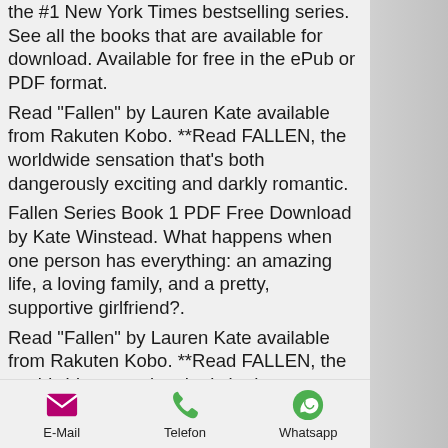the #1 New York Times bestselling series. See all the books that are available for download. Available for free in the ePub or PDF format.
Read "Fallen" by Lauren Kate available from Rakuten Kobo. **Read FALLEN, the worldwide sensation that's both dangerously exciting and darkly romantic.
Fallen Series Book 1 PDF Free Download by Kate Winstead. What happens when one person has everything: an amazing life, a loving family, and a pretty, supportive girlfriend?.
Read "Fallen" by Lauren Kate available from Rakuten Kobo. **Read FALLEN, the worldwide sensation that's both dangerously exciting
WinAVI Video Converter 7.7 Serial
E-Mail | Telefon | Whatsapp